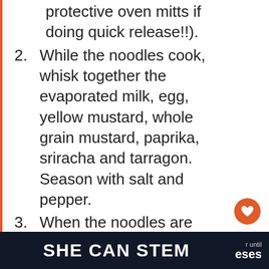do a quick release of the valve (wear protective oven mitts if doing quick release!!).
While the noodles cook, whisk together the evaporated milk, egg, yellow mustard, whole grain mustard, paprika, sriracha and tarragon. Season with salt and pepper.
When the noodles are done cooking, drain any excess water as needed. Put the IP in "Saute" mode – press twice to put it on "More" mode – and add the butter to the noodles. Stir until the butter has melted and is coating the noodles.
SHE CAN STEM